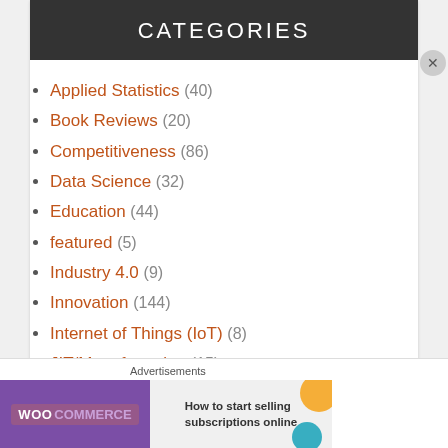CATEGORIES
Applied Statistics (40)
Book Reviews (20)
Competitiveness (86)
Data Science (32)
Education (44)
featured (5)
Industry 4.0 (9)
Innovation (144)
Internet of Things (IoT) (8)
JIT/Manufacturing (15)
Journal Reviews (5)
Lean Six Sigma (26)
Advertisements
[Figure (screenshot): WooCommerce advertisement banner: 'How to start selling subscriptions online']